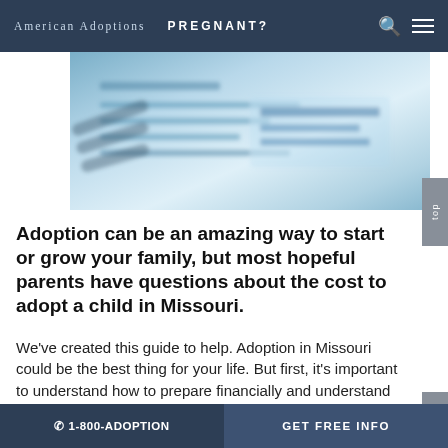American Adoptions   PREGNANT?
[Figure (photo): Close-up photo of documents or forms, blurred, with blue tones suggesting paperwork related to adoption]
Adoption can be an amazing way to start or grow your family, but most hopeful parents have questions about the cost to adopt a child in Missouri.
We've created this guide to help. Adoption in Missouri could be the best thing for your life. But first, it's important to understand how to prepare financially and understand what makes up the cost associated with adoption.
The expenses that all prospective adoptive parents will likely pay include:
☎ 1-800-ADOPTION   GET FREE INFO